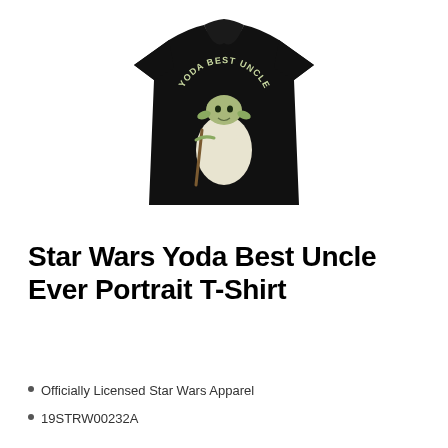[Figure (photo): Black t-shirt with Yoda illustration and text 'YODA BEST UNCLE EVER' printed on the front]
Star Wars Yoda Best Uncle Ever Portrait T-Shirt
Officially Licensed Star Wars Apparel
19STRW00232A